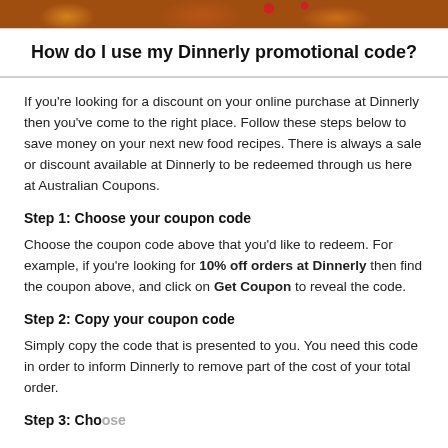[Figure (photo): Top strip showing food items including bread rolls and red chili peppers on a dark background]
How do I use my Dinnerly promotional code?
If you're looking for a discount on your online purchase at Dinnerly then you've come to the right place. Follow these steps below to save money on your next new food recipes. There is always a sale or discount available at Dinnerly to be redeemed through us here at Australian Coupons.
Step 1: Choose your coupon code
Choose the coupon code above that you'd like to redeem. For example, if you're looking for 10% off orders at Dinnerly then find the coupon above, and click on Get Coupon to reveal the code.
Step 2: Copy your coupon code
Simply copy the code that is presented to you. You need this code in order to inform Dinnerly to remove part of the cost of your total order.